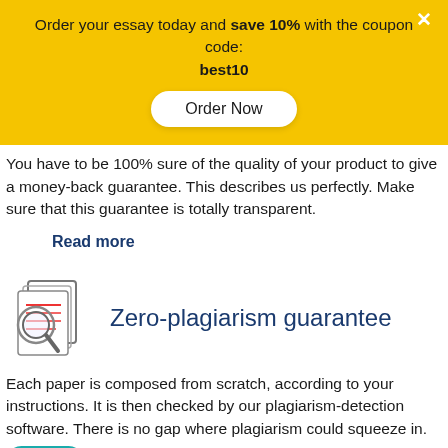Order your essay today and save 10% with the coupon code: best10
Order Now
You have to be 100% sure of the quality of your product to give a money-back guarantee. This describes us perfectly. Make sure that this guarantee is totally transparent.
Read more
[Figure (illustration): Icon of documents with a magnifying glass, representing plagiarism detection]
Zero-plagiarism guarantee
Each paper is composed from scratch, according to your instructions. It is then checked by our plagiarism-detection software. There is no gap where plagiarism could squeeze in.
Chat
Read more